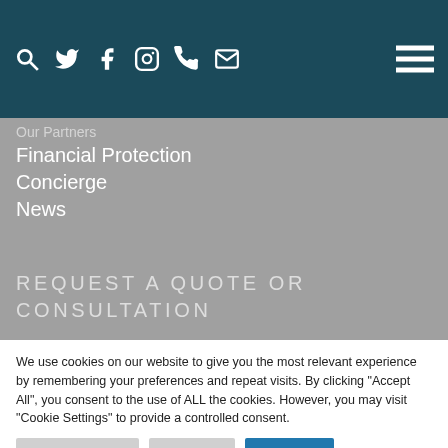Navigation header with social/contact icons and hamburger menu
Our Partners
Financial Protection
Concierge
News
REQUEST A QUOTE OR CONSULTATION
We use cookies on our website to give you the most relevant experience by remembering your preferences and repeat visits. By clicking "Accept All", you consent to the use of ALL the cookies. However, you may visit "Cookie Settings" to provide a controlled consent.
Cookie Settings | Reject All | Accept All